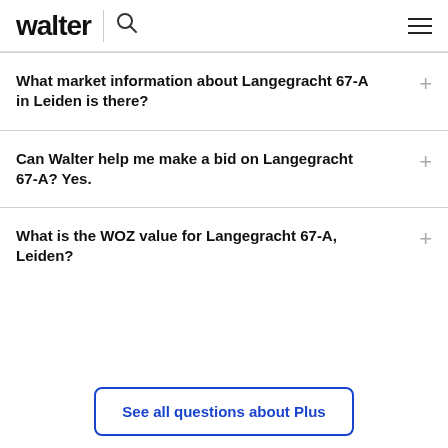walter
What market information about Langegracht 67-A in Leiden is there?
Can Walter help me make a bid on Langegracht 67-A? Yes.
What is the WOZ value for Langegracht 67-A, Leiden?
See all questions about Plus